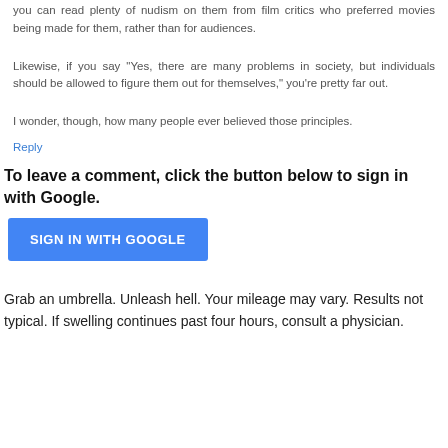you can read plenty of nudism on them from film critics who preferred movies being made for them, rather than for audiences.
Likewise, if you say "Yes, there are many problems in society, but individuals should be allowed to figure them out for themselves," you're pretty far out.
I wonder, though, how many people ever believed those principles.
Reply
To leave a comment, click the button below to sign in with Google.
[Figure (other): SIGN IN WITH GOOGLE button]
Grab an umbrella. Unleash hell. Your mileage may vary. Results not typical. If swelling continues past four hours, consult a physician.